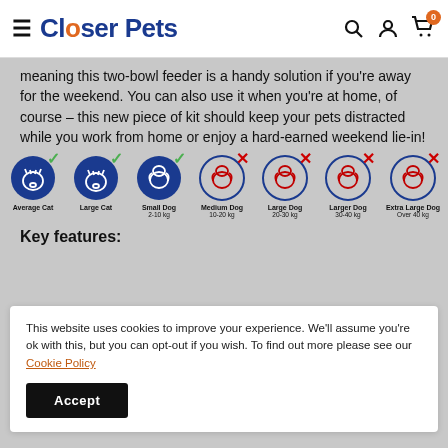Closer Pets
meaning this two-bowl feeder is a handy solution if you're away for the weekend. You can also use it when you're at home, of course – this new piece of kit should keep your pets distracted while you work from home or enjoy a hard-earned weekend lie-in!
[Figure (infographic): Seven circular icons showing pet size suitability. Average Cat (check), Large Cat (check), Small Dog 2-10 kg (check), Medium Dog 10-20 kg (cross), Large Dog 20-30 kg (cross), Larger Dog 30-40 kg (cross), Extra Large Dog Over 40 kg (cross).]
Key features:
This website uses cookies to improve your experience. We'll assume you're ok with this, but you can opt-out if you wish. To find out more please see our Cookie Policy